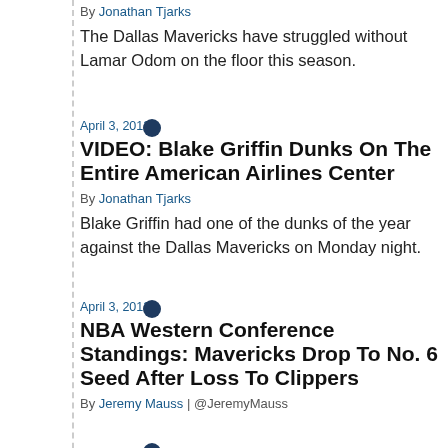By Jonathan Tjarks
The Dallas Mavericks have struggled without Lamar Odom on the floor this season.
April 3, 2012
VIDEO: Blake Griffin Dunks On The Entire American Airlines Center
By Jonathan Tjarks
Blake Griffin had one of the dunks of the year against the Dallas Mavericks on Monday night.
April 3, 2012
NBA Western Conference Standings: Mavericks Drop To No. 6 Seed After Loss To Clippers
By Jeremy Mauss | @JeremyMauss
April 2, 2012